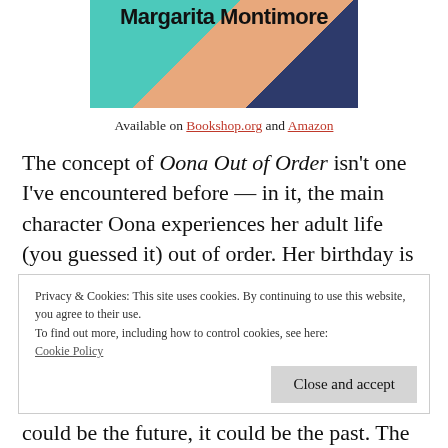[Figure (illustration): Book cover image for a book by Margarita Montimore with teal, peach and dark navy abstract shapes. The author name 'Margarita Montimore' is displayed in large bold black text at the top of the cover.]
Available on Bookshop.org and Amazon
The concept of Oona Out of Order isn't one I've encountered before — in it, the main character Oona experiences her adult life (you guessed it) out of order. Her birthday is on New Year's Day, which is quite symbolic
Privacy & Cookies: This site uses cookies. By continuing to use this website, you agree to their use.
To find out more, including how to control cookies, see here:
Cookie Policy
Close and accept
could be the future, it could be the past. The